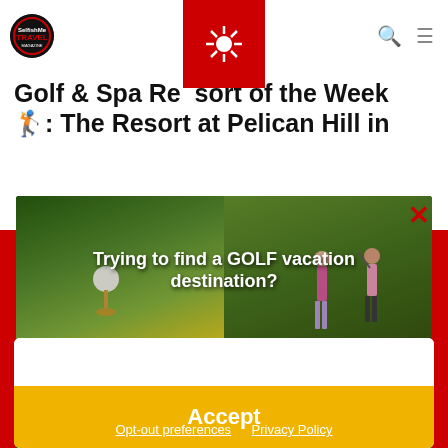SelfishMe Travel — Golf & Spa Resort of the Week: The Resort at Pelican Hill in
Golf & Spa Resort of the Week 🏌️: The Resort at Pelican Hill in
[Figure (screenshot): Golf quiz popup overlay with header image showing golf ball on tee and golfers, text 'Trying to find a GOLF vacation destination?', grid of 4 golf photos with text 'Take our 2-minute personality quiz to reveal your next Golf Travel destination.', and a red 'Start Quiz' button. Red X close button in top-right corner.]
[Figure (screenshot): Cookie consent modal with white content area and yellow 'Accept' button]
Opt-out preferences    Privacy Policy